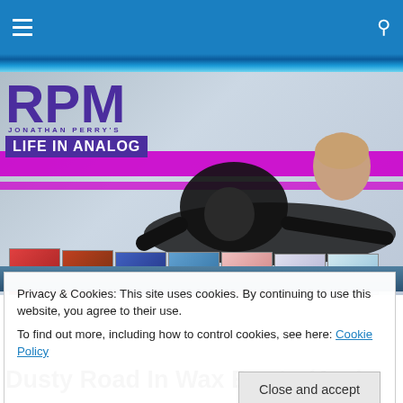Navigation bar with hamburger menu and search icon
[Figure (photo): Jonathan Perry's RPM Life In Analog banner. A man in a black leather jacket lying on the floor surrounded by vinyl record albums. Purple RPM logo and 'JONATHAN PERRY'S LIFE IN ANALOG' text on the left side with purple horizontal stripes across the image.]
Privacy & Cookies: This site uses cookies. By continuing to use this website, you agree to their use.
To find out more, including how to control cookies, see here: Cookie Policy
Close and accept
Dusty Road In Wax Boots (And